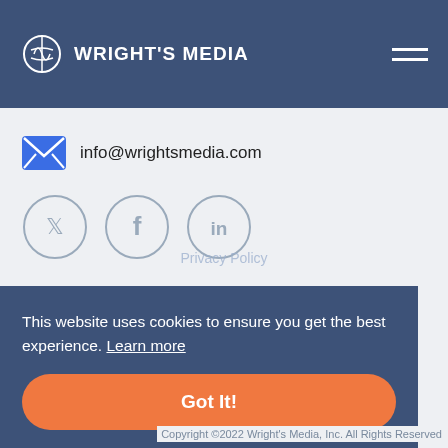WRIGHT'S MEDIA
info@wrightsmedia.com
[Figure (infographic): Social media icons: Twitter, Facebook, LinkedIn in circular outlines]
This website uses cookies to ensure you get the best experience. Learn more
Got It!
Copyright ©2022 Wright's Media, Inc. All Rights Reserved